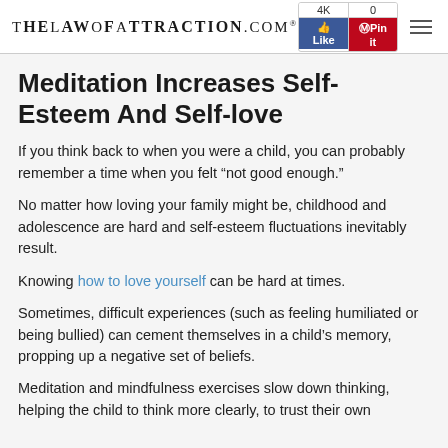TheLawOfAttraction.com® | 4K Like | 0 Pin it
Meditation Increases Self-Esteem And Self-love
If you think back to when you were a child, you can probably remember a time when you felt “not good enough.”
No matter how loving your family might be, childhood and adolescence are hard and self-esteem fluctuations inevitably result.
Knowing how to love yourself can be hard at times.
Sometimes, difficult experiences (such as feeling humiliated or being bullied) can cement themselves in a child’s memory, propping up a negative set of beliefs.
Meditation and mindfulness exercises slow down thinking, helping the child to think more clearly, to trust their own